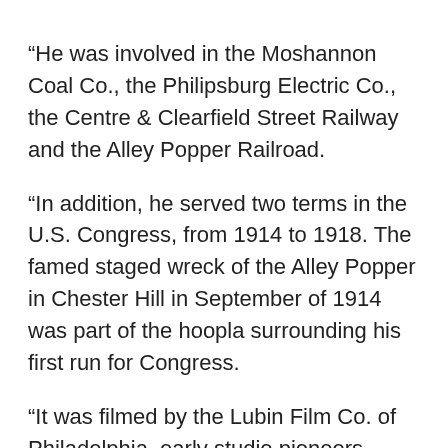“He was involved in the Moshannon Coal Co., the Philipsburg Electric Co., the Centre & Clearfield Street Railway and the Alley Popper Railroad.
“In addition, he served two terms in the U.S. Congress, from 1914 to 1918. The famed staged wreck of the Alley Popper in Chester Hill in September of 1914 was part of the hoopla surrounding his first run for Congress.
“It was filmed by the Lubin Film Co. of Philadelphia, early studio pioneers.  Charles Rowland himself gave a speech to the crowd before the event, promoting his candidacy, which was endorsed by U.S. Senator Boise Penrose, the Pennsylvania Republican boss.
“The speech and the staged head-on collision were made into a short film that was shown to local audiences during